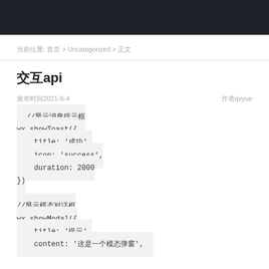当前位置: 首页 > Uncategorized > 正文
交互api
发布时间2021-6-4    作者qvyue
//显示消息提示框
wx.showToast({
    title: '成功',
    icon: 'success',
    duration: 2000
})

//显示模态对话框
wx.showModal({
    title: '提示',
    content: '这是一个模态弹窗',